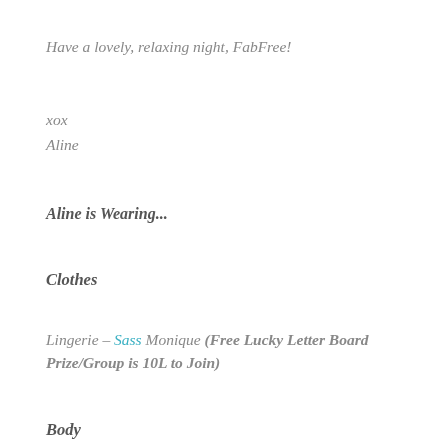Have a lovely, relaxing night, FabFree!
xox
Aline
Aline is Wearing...
Clothes
Lingerie – Sass Monique (Free Lucky Letter Board Prize/Group is 10L to Join)
Body
Mesh Body – Maitreya Lara
Mesh Head – Lelutka Cate
Head Applier – Glam Affair Cate
Eyebrows– Jumo Britani
Eyes– Euphoric Dolly Babe Eyes